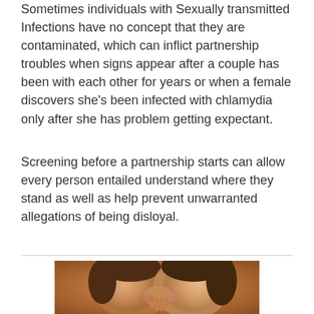Sometimes individuals with Sexually transmitted Infections have no concept that they are contaminated, which can inflict partnership troubles when signs appear after a couple has been with each other for years or when a female discovers she's been infected with chlamydia only after she has problem getting expectant.
Screening before a partnership starts can allow every person entailed understand where they stand as well as help prevent unwarranted allegations of being disloyal.
[Figure (photo): Close-up photo of a couple about to kiss, warm tones, one person cupping the other's face]